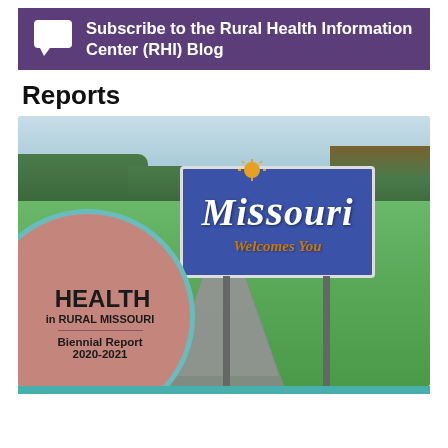Subscribe to the Rural Health Information Center (RHI) Blog
Reports
[Figure (photo): Cover of the Health in Rural Missouri Biennial Report 2020-2021, showing a Missouri Welcomes You road sign along a rural highway with green grass and trees, overlaid with a circular salmon-colored badge reading HEALTH in RURAL MISSOURI Biennial Report 2020-2021]